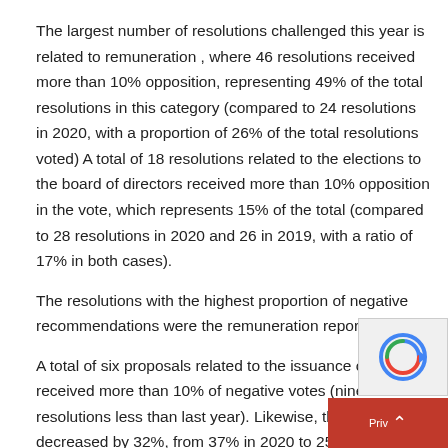The largest number of resolutions challenged this year is related to remuneration , where 46 resolutions received more than 10% opposition, representing 49% of the total resolutions in this category (compared to 24 resolutions in 2020, with a proportion of 26% of the total resolutions voted) A total of 18 resolutions related to the elections to the board of directors received more than 10% opposition in the vote, which represents 15% of the total (compared to 28 resolutions in 2020 and 26 in 2019, with a ratio of 17% in both cases).
The resolutions with the highest proportion of negative recommendations were the remuneration reports
A total of six proposals related to the issuance of shares received more than 10% of negative votes (nine resolutions less than last year). Likewise, the ratio decreased by 32%, from 37% in 2020 to 25% in the 2021 representation season.
The resolutions that received the highest proportion of negative